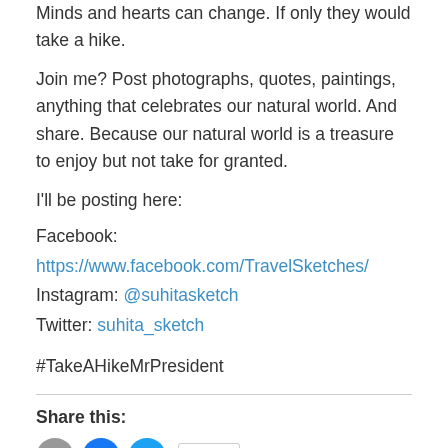Minds and hearts can change. If only they would take a hike.
Join me? Post photographs, quotes, paintings, anything that celebrates our natural world. And share. Because our natural world is a treasure to enjoy but not take for granted.
I'll be posting here:
Facebook: https://www.facebook.com/TravelSketches/
Instagram: @suhitasketch
Twitter: suhita_sketch
#TakeAHikeMrPresident
Share this: